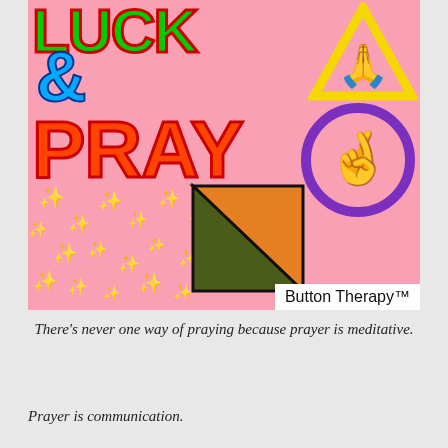[Figure (illustration): Colorful graphic on pink background showing 'LUCK & PRAY' text in bold green and orange letters with blue ampersand, decorative emojis including praying hands in yellow triangle, crossed fingers in purple circle, sparkle stars, and orange/dark green geometric triangle. Button Therapy™ watermark in bottom right.]
There's never one way of praying because prayer is meditative.
Prayer is communication.